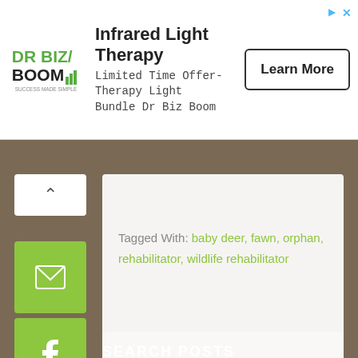[Figure (other): Advertisement banner: Dr Biz Boom logo, Infrared Light Therapy heading, 'Limited Time Offer- Therapy Light Bundle Dr Biz Boom' text, and a 'Learn More' button]
Tagged With: baby deer, fawn, orphan, rehabilitator, wildlife rehabilitator
SEARCH POSTS
search this website...